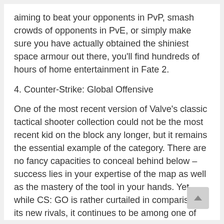aiming to beat your opponents in PvP, smash crowds of opponents in PvE, or simply make sure you have actually obtained the shiniest space armour out there, you'll find hundreds of hours of home entertainment in Fate 2.
4. Counter-Strike: Global Offensive
One of the most recent version of Valve’s classic tactical shooter collection could not be the most recent kid on the block any longer, but it remains the essential example of the category. There are no fancy capacities to conceal behind below – success lies in your expertise of the map as well as the mastery of the tool in your hands. Yet while CS: GO is rather curtailed in comparison to its new rivals, it continues to be among one of the most medical contemporary shooters around, at a completely unmatched rate factor.
3. Peak Legends